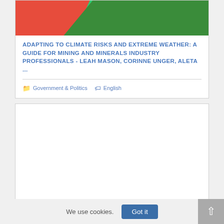[Figure (photo): Partial image showing red background with green foliage/plants at the top of a card]
ADAPTING TO CLIMATE RISKS AND EXTREME WEATHER: A GUIDE FOR MINING AND MINERALS INDUSTRY PROFESSIONALS - LEAH MASON, CORINNE UNGER, ALETA ...
Government & Politics   English
[Figure (other): Empty white card placeholder below the first card]